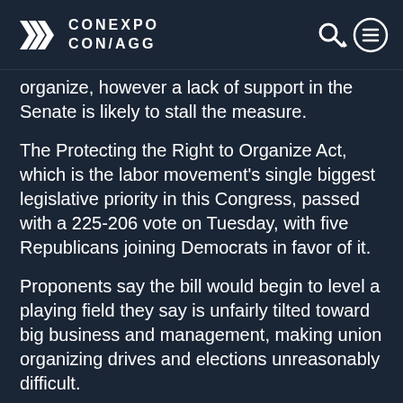CONEXPO CON/AGG
organize, however a lack of support in the Senate is likely to stall the measure.
The Protecting the Right to Organize Act, which is the labor movement's single biggest legislative priority in this Congress, passed with a 225-206 vote on Tuesday, with five Republicans joining Democrats in favor of it.
Proponents say the bill would begin to level a playing field they say is unfairly tilted toward big business and management, making union organizing drives and elections unreasonably difficult.
Advertisement
[Figure (logo): Liebherr advertisement with yellow band and 'Earthmoving' text]